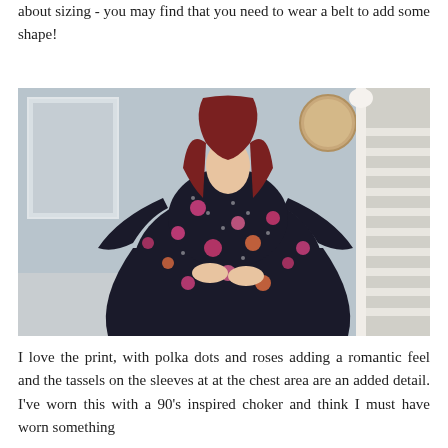about sizing - you may find that you need to wear a belt to add some shape!
[Figure (photo): A woman with red hair wearing a dark floral dress with bell sleeves and polka dot print, standing near a staircase in a home interior.]
I love the print, with polka dots and roses adding a romantic feel and the tassels on the sleeves at at the chest area are an added detail. I've worn this with a 90's inspired choker and think I must have worn something